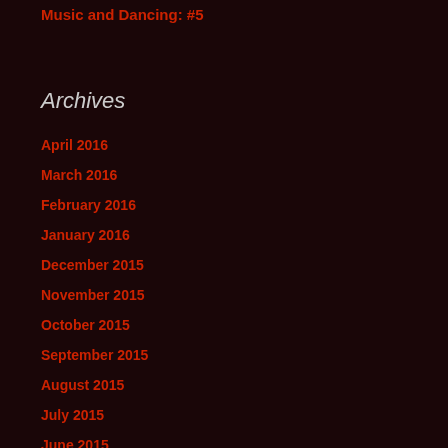Music and Dancing: #5
Archives
April 2016
March 2016
February 2016
January 2016
December 2015
November 2015
October 2015
September 2015
August 2015
July 2015
June 2015